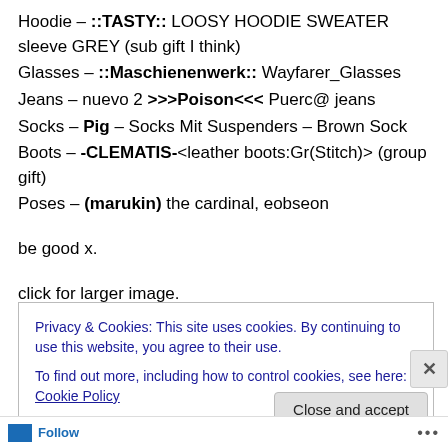Hoodie – ::TASTY:: LOOSY HOODIE SWEATER sleeve GREY (sub gift I think)
Glasses – ::Maschienenwerk:: Wayfarer_Glasses
Jeans – nuevo 2 >>>Poison<<< Puerc@ jeans
Socks – Pig – Socks Mit Suspenders – Brown Sock
Boots – -CLEMATIS-<leather boots:Gr(Stitch)> (group gift)
Poses – (marukin) the cardinal, eobseon
be good x.
click for larger image.
Privacy & Cookies: This site uses cookies. By continuing to use this website, you agree to their use.
To find out more, including how to control cookies, see here: Cookie Policy